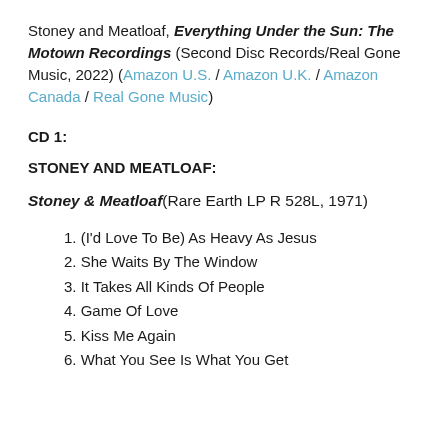Stoney and Meatloaf, Everything Under the Sun: The Motown Recordings (Second Disc Records/Real Gone Music, 2022) (Amazon U.S. / Amazon U.K. / Amazon Canada / Real Gone Music)
CD 1:
STONEY AND MEATLOAF:
Stoney & Meatloaf (Rare Earth LP R 528L, 1971)
1. (I'd Love To Be) As Heavy As Jesus
2. She Waits By The Window
3. It Takes All Kinds Of People
4. Game Of Love
5. Kiss Me Again
6. What You See Is What You Get